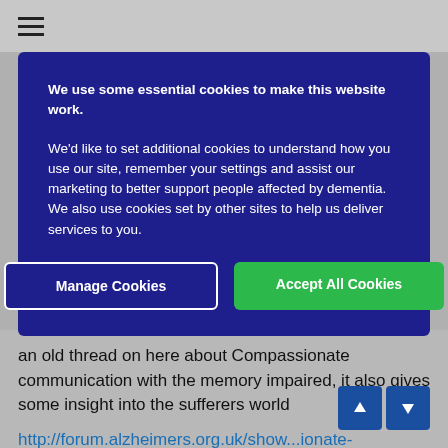☰
We use some essential cookies to make this website work.
We'd like to set additional cookies to understand how you use our site, remember your settings and assist our marketing to better support people affected by dementia. We also use cookies set by other sites to help us deliver services to you.
Manage Cookies | Accept All Cookies
an old thread on here about Compassionate communication with the memory impaired, it also gives some insight into the sufferers world
http://forum.alzheimers.org.uk/show...ionate-Communication-with-the-Memory-Impaired
You may not get a reply from the OP ( original poster) as this thread has not been needed for a while...